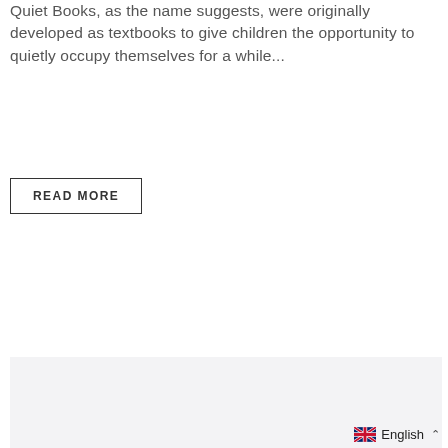Quiet Books, as the name suggests, were originally developed as textbooks to give children the opportunity to quietly occupy themselves for a while...
READ MORE
[Figure (other): Light grey placeholder image area]
English